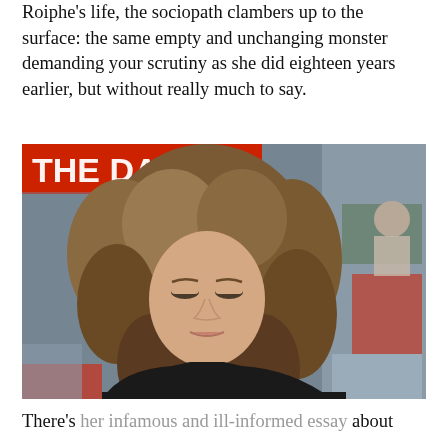Roiphe's life, the sociopath clambers up to the surface: the same empty and unchanging monster demanding your scrutiny as she did eighteen years earlier, but without really much to say.
[Figure (photo): A woman with long curly brown hair wearing a black top, photographed in what appears to be a newsroom or office environment with red and gray elements in the background. A partial banner reading 'THE DAILY' is visible in the upper left.]
There's her infamous and ill-informed essay about